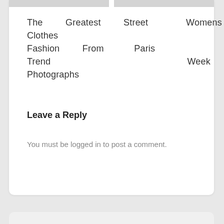The Greatest Street Womens Clothes Fashion From Paris Trend Week Photographs
Leave a Reply
You must be logged in to post a comment.